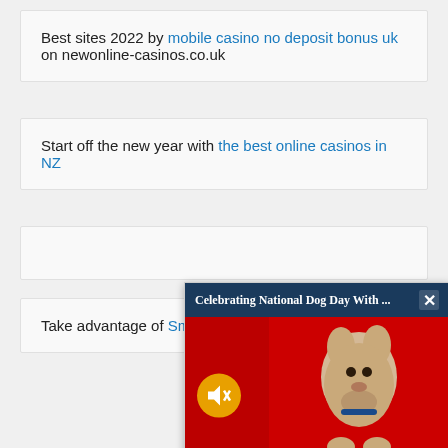Best sites 2022 by mobile casino no deposit bonus uk on newonline-casinos.co.uk
Start off the new year with the best online casinos in NZ
Take advantage of Sma[rtsoft] company with professio[nal services]
[Figure (photo): Popup overlay titled 'Celebrating National Dog Day With ...' showing a small terrier dog on a red background with a mute button and close button]